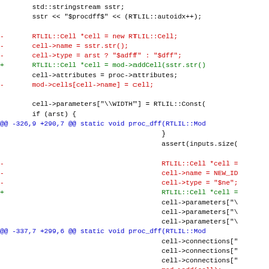Code diff showing changes to proc_dff function in RTLIL source file